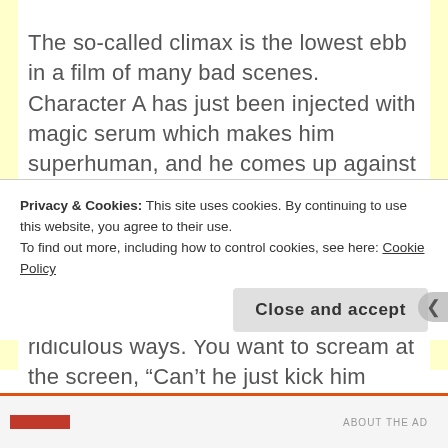The so-called climax is the lowest ebb in a film of many bad scenes. Character A has just been injected with magic serum which makes him superhuman, and he comes up against Character B, his boss-turned-evil, who is supposedly equally strong. This limited logic that has been set up then goes out the window, as they alternate having the upper hand in new and ridiculous ways. You want to scream at the screen, “Can’t he just kick him
Privacy & Cookies: This site uses cookies. By continuing to use this website, you agree to their use.
To find out more, including how to control cookies, see here: Cookie Policy
Close and accept